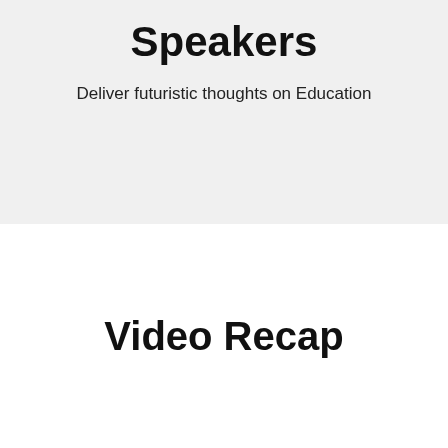Speakers
Deliver futuristic thoughts on Education
Video Recap